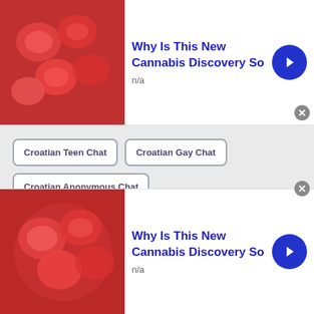[Figure (photo): Top ad banner with red gummy candy image, title 'Why Is This New Cannabis Discovery So', subtitle 'n/a', blue arrow button, and close button]
Croatian Teen Chat
Croatian Gay Chat
Croatian Anonymous Chat
Croatian Stranger Chat
Croatian Text Chat
Croatian Live Chat
Croatian Mocospace Chat Rooms
Croatian Omegle Random Chat
[Figure (photo): Bottom ad banner with red gummy candy image, title 'Why Is This New Cannabis Discovery So', subtitle 'n/a', blue arrow button, and close button]